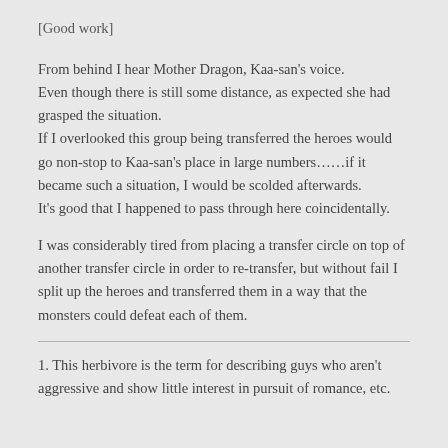[Good work]
From behind I hear Mother Dragon, Kaa-san's voice.
Even though there is still some distance, as expected she had grasped the situation.
If I overlooked this group being transferred the heroes would go non-stop to Kaa-san's place in large numbers……if it became such a situation, I would be scolded afterwards.
It's good that I happened to pass through here coincidentally.
I was considerably tired from placing a transfer circle on top of another transfer circle in order to re-transfer, but without fail I split up the heroes and transferred them in a way that the monsters could defeat each of them.
1. This herbivore is the term for describing guys who aren't aggressive and show little interest in pursuit of romance, etc.